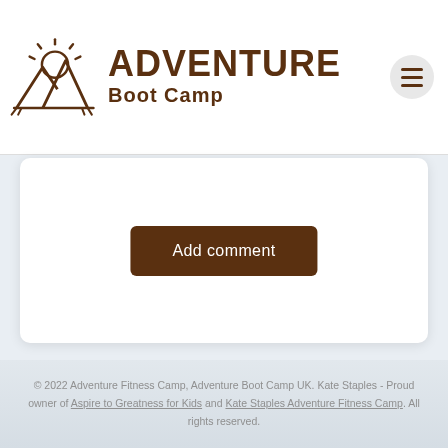[Figure (logo): Adventure Boot Camp logo with mountain and sun SVG illustration and bold brown text reading ADVENTURE Boot Camp, with hamburger menu button in top right]
Add comment
© 2022 Adventure Fitness Camp, Adventure Boot Camp UK. Kate Staples - Proud owner of Aspire to Greatness for Kids and Kate Staples Adventure Fitness Camp. All rights reserved.